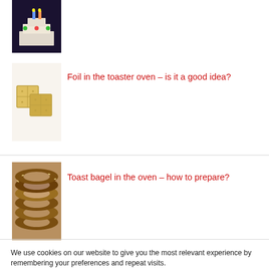[Figure (photo): Photo of a decorated cake with candles on dark background]
[Figure (photo): Photo of crackers/toast on white background]
Foil in the toaster oven – is it a good idea?
[Figure (photo): Photo of toasted bagels piled on a plate]
Toast bagel in the oven – how to prepare?
We use cookies on our website to give you the most relevant experience by remembering your preferences and repeat visits.
Read More
OK